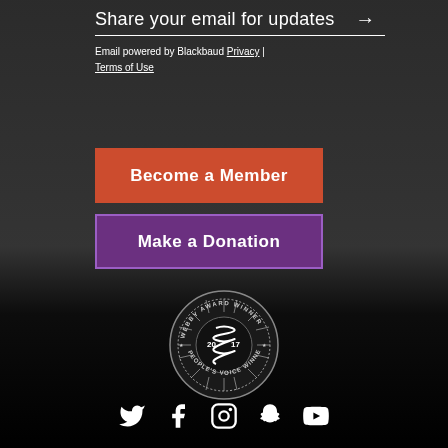Share your email for updates →
Email powered by Blackbaud Privacy | Terms of Use
Become a Member
Make a Donation
[Figure (logo): Webby Award Winner 2017 People's Voice Winner badge/seal]
[Figure (infographic): Social media icons: Twitter, Facebook, Instagram, Snapchat, YouTube]